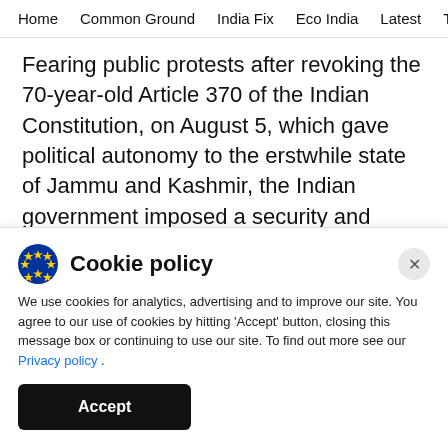Home   Common Ground   India Fix   Eco India   Latest   Th
Fearing public protests after revoking the 70-year-old Article 370 of the Indian Constitution, on August 5, which gave political autonomy to the erstwhile state of Jammu and Kashmir, the Indian government imposed a security and communication clampdown across Kashmir valley. Isolated incidents of peaceful protests and stone-pelting, like the one in Firdous Colony on August 9, continue.
Cookie policy
We use cookies for analytics, advertising and to improve our site. You agree to our use of cookies by hitting 'Accept' button, closing this message box or continuing to use our site. To find out more see our Privacy policy .
Accept